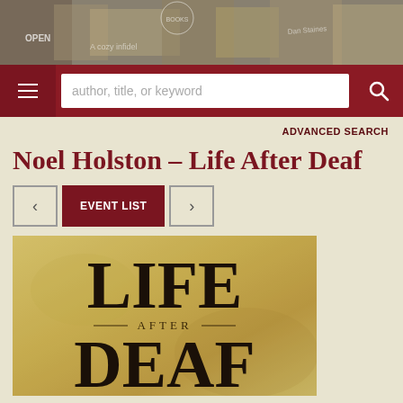[Figure (photo): Black and white photo banner showing a bookstore exterior with people, signs reading OPEN, and author signatures overlay]
[Figure (screenshot): Website navigation bar with hamburger menu, search box with placeholder 'author, title, or keyword', and search icon button on dark red background]
ADVANCED SEARCH
Noel Holston – Life After Deaf
< EVENT LIST >
[Figure (photo): Book cover for 'Life After Deaf' showing large serif text LIFE AFTER DEAF on aged parchment/tan background]